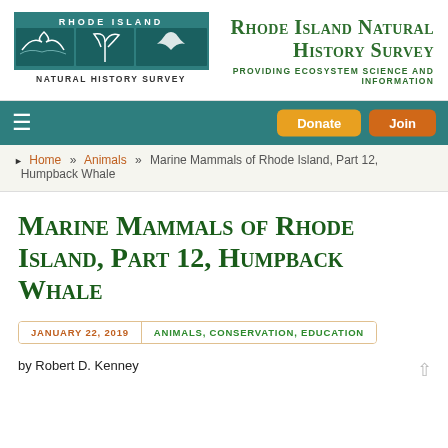[Figure (logo): Rhode Island Natural History Survey logo — teal square with wildlife silhouettes and 'RHODE ISLAND' text above, 'NATURAL HISTORY SURVEY' below]
Rhode Island Natural History Survey — Providing Ecosystem Science and Information
≡  Donate  Join
Home » Animals » Marine Mammals of Rhode Island, Part 12, Humpback Whale
Marine Mammals of Rhode Island, Part 12, Humpback Whale
JANUARY 22, 2019   ANIMALS, CONSERVATION, EDUCATION
by Robert D. Kenney